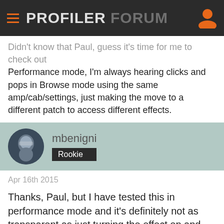PROFILER FORUM
Didn't know that Paul, guess it's time for me to check out Performance mode, I'm always hearing clicks and pops in Browse mode using the same amp/cab/settings, just making the move to a different patch to access different effects.
mbenigni
Rookie
Apr 16th 2015
Thanks, Paul, but I have tested this in performance mode and it's definitely not as transparent as just turning the effect on and off.
This site uses cookies. By continuing to browse this site, you are agreeing to our use of cookies.